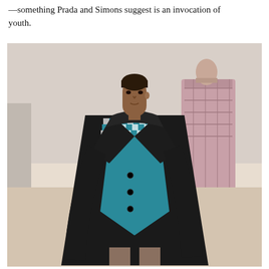—something Prada and Simons suggest is an invocation of youth.
[Figure (photo): Fashion runway photo: a young male model walks forward wearing a long black leather trench coat open over a teal and white gingham checked blazer/coat and dark shorts. In the background, another model walks in a pink plaid oversized coat. The venue has light beige floors and white walls.]